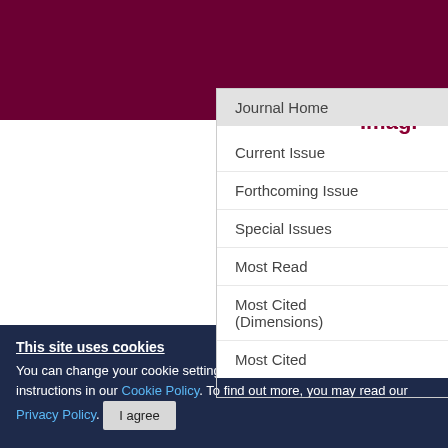[Figure (screenshot): Dark maroon/burgundy header bar of a journal website]
Journal Home
Current Issue
Forthcoming Issue
Special Issues
Most Read
Most Cited (Dimensions)
Most Cited
Imagi... neuro... and re...
Authors:
View Affil...
This site uses cookies
You can change your cookie settings at any time by following the instructions in our Cookie Policy. To find out more, you may read our Privacy Policy.